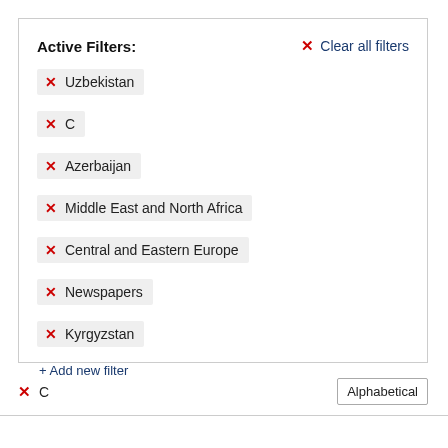Active Filters:
Clear all filters
Uzbekistan
C
Azerbaijan
Middle East and North Africa
Central and Eastern Europe
Newspapers
Kyrgyzstan
+ Add new filter
C
Alphabetical